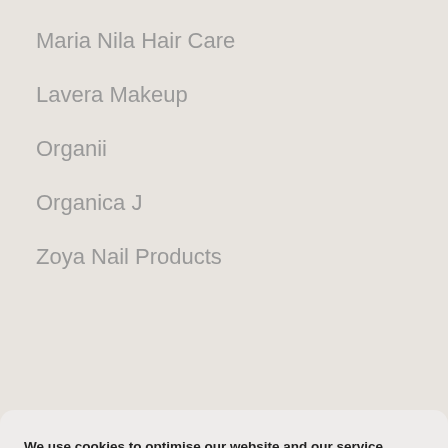Maria Nila Hair Care
Lavera Makeup
Organii
Organica J
Zoya Nail Products
We use cookies to optimise our website and our service.
ALL COOKIES
DENY
VIEW PREFERENCES
Cookie policy